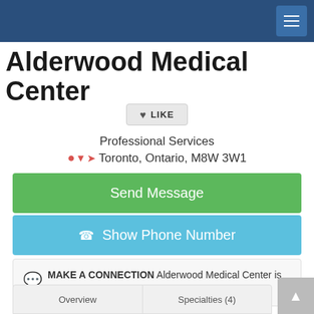Navigation bar with hamburger menu
Alderwood Medical Center
LIKE
Professional Services
Toronto, Ontario, M8W 3W1
Send Message
Show Phone Number
MAKE A CONNECTION Alderwood Medical Center is accepting messages: Send Message
Overview  Specialties (4)